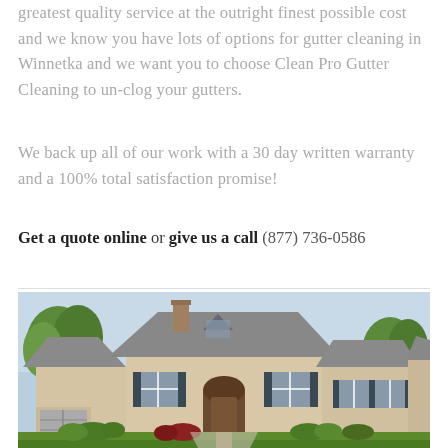greatest quality service at the outright finest possible cost and we know you have lots of options for gutter cleaning in Winnetka and we want you to choose Clean Pro Gutter Cleaning to un-clog your gutters.
We back up all of our work with a 30 day written warranty and a 100% total satisfaction promise!
Get a quote online or give us a call (877) 736-0586
[Figure (photo): Photograph of a large suburban house with brick and stucco exterior, multiple gabled rooflines with gray shingles, manicured front lawn with green grass and landscaped shrubs, trees in background, blue sky.]